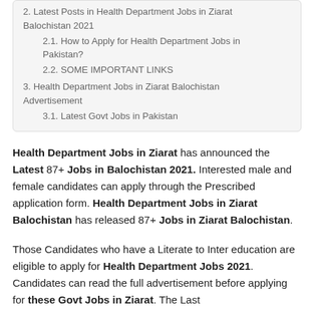2. Latest Posts in Health Department Jobs in Ziarat Balochistan 2021
2.1. How to Apply for Health Department Jobs in Pakistan?
2.2. SOME IMPORTANT LINKS
3. Health Department Jobs in Ziarat Balochistan Advertisement
3.1. Latest Govt Jobs in Pakistan
Health Department Jobs in Ziarat has announced the Latest 87+ Jobs in Balochistan 2021. Interested male and female candidates can apply through the Prescribed application form. Health Department Jobs in Ziarat Balochistan has released 87+ Jobs in Ziarat Balochistan.
Those Candidates who have a Literate to Inter education are eligible to apply for Health Department Jobs 2021. Candidates can read the full advertisement before applying for these Govt Jobs in Ziarat. The Last